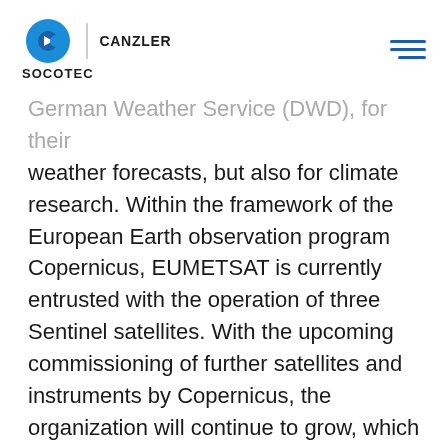SOCOTEC | CANZLER
German Weather Service (DWD), for their weather forecasts, but also for climate research. Within the framework of the European Earth observation program Copernicus, EUMETSAT is currently entrusted with the operation of three Sentinel satellites. With the upcoming commissioning of further satellites and instruments by Copernicus, the organization will continue to grow, which is why EUMETSAT has commissioned Pielok-Marquardt architects from CANZLER to design another office building